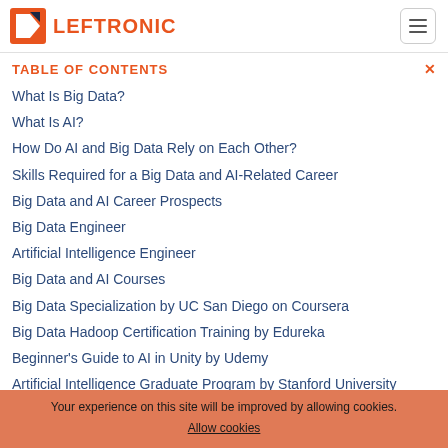LEFTRONIC
TABLE OF CONTENTS
What Is Big Data?
What Is AI?
How Do AI and Big Data Rely on Each Other?
Skills Required for a Big Data and AI-Related Career
Big Data and AI Career Prospects
Big Data Engineer
Artificial Intelligence Engineer
Big Data and AI Courses
Big Data Specialization by UC San Diego on Coursera
Big Data Hadoop Certification Training by Edureka
Beginner's Guide to AI in Unity by Udemy
Artificial Intelligence Graduate Program by Stanford University
What Is the Future of Big Data and AI?
Your experience on this site will be improved by allowing cookies. Allow cookies